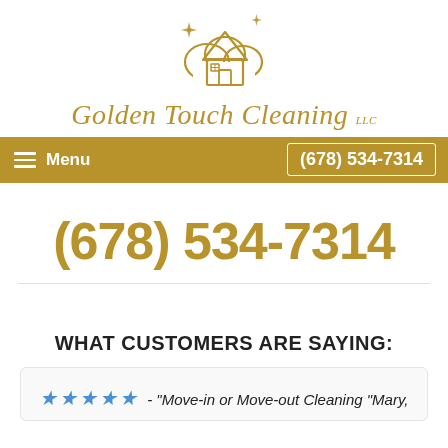[Figure (logo): Golden Touch Cleaning LLC logo: a house inside a cloud shape with sparkle, rendered in gold/brown outline style]
Golden Touch Cleaning LLC
Menu   (678) 534-7314
(678) 534-7314
WHAT CUSTOMERS ARE SAYING:
★★★★★ - "Move-in or Move-out Cleaning "Mary,